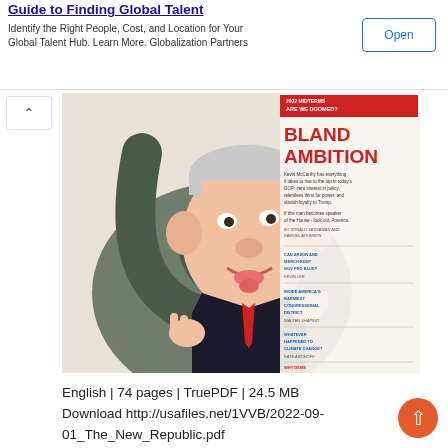Guide to Finding Global Talent — Identify the Right People, Cost, and Location for Your Global Talent Hub. Learn More. Globalization Partners
[Figure (illustration): Magazine cover of The New Republic showing a caricature of Kevin McCarthy with large elephant trunk wrapped around him. Title reads 'BLAND AMBITION'. Red and white text on the cover with various article teasers.]
English | 74 pages | TruePDF | 24.5 MB
Download http://usafiles.net/1VVB/2022-09-01_The_New_Republic.pdf